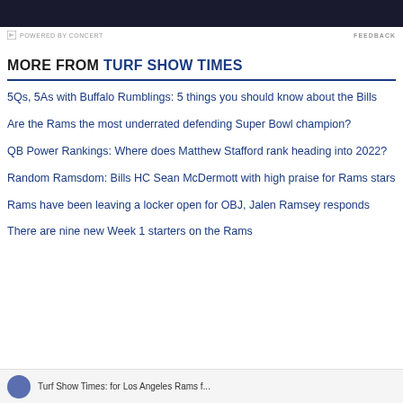[Figure (other): Dark banner/advertisement at top of page]
POWERED BY CONCERT    FEEDBACK
MORE FROM TURF SHOW TIMES
5Qs, 5As with Buffalo Rumblings: 5 things you should know about the Bills
Are the Rams the most underrated defending Super Bowl champion?
QB Power Rankings: Where does Matthew Stafford rank heading into 2022?
Random Ramsdom: Bills HC Sean McDermott with high praise for Rams stars
Rams have been leaving a locker open for OBJ, Jalen Ramsey responds
There are nine new Week 1 starters on the Rams
Turf Show Times: for Los Angeles Rams f...